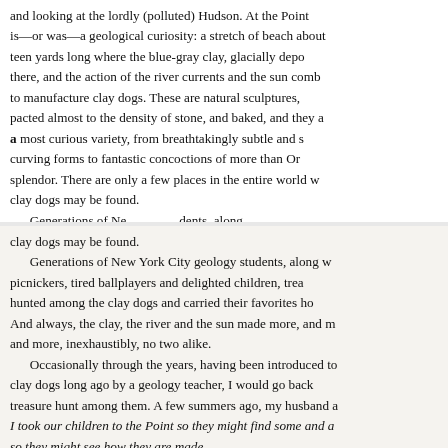and looking at the lordly (polluted) Hudson. At the Point is—or was—a geological curiosity: a stretch of beach about teen yards long where the blue-gray clay, glacially depo there, and the action of the river currents and the sun comb to manufacture clay dogs. These are natural sculptures, pacted almost to the density of stone, and baked, and they a a most curious variety, from breathtakingly subtle and s curving forms to fantastic concoctions of more than Or splendor. There are only a few places in the entire world w clay dogs may be found. Generations of Ne...
clay dogs may be found. Generations of New York City geology students, along picnickers, tired ballplayers and delighted children, trea hunted among the clay dogs and carried their favorites ho And always, the clay, the river and the sun made more, and m and more, inexhaustibly, no two alike. Occasionally through the years, having been introduced to clay dogs long ago by a geology teacher, I would go back treasure hunt among them. A few summers ago, my husband a I took our children to the Point so they might find some and a so they might see how they are made. But we were a season behind improvers on nature. The sl of muddy clay that formed the little stretch of unique beach b been demolished. In its place was...